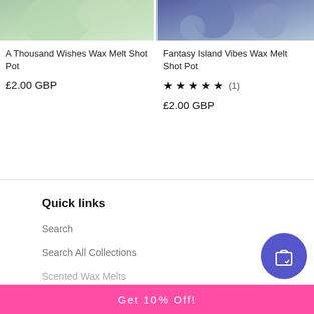[Figure (photo): Top portion of green wax melt shot pot product image]
[Figure (photo): Top portion of blue/purple wax melt shot pot product image]
A Thousand Wishes Wax Melt Shot Pot
£2.00 GBP
Fantasy Island Vibes Wax Melt Shot Pot
★ ★ ★ ★ ★ (1)
£2.00 GBP
Quick links
Search
Search All Collections
Scented Wax Melts
Get 10% Off!